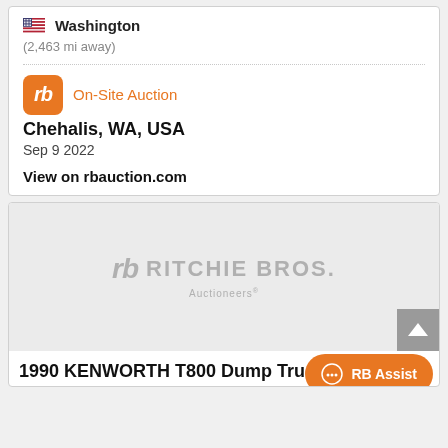Washington
(2,463 mi away)
On-Site Auction
Chehalis, WA, USA
Sep 9 2022
View on rbauction.com
[Figure (logo): Ritchie Bros. Auctioneers watermark logo on gray placeholder image background]
1990 KENWORTH T800 Dump Truc...